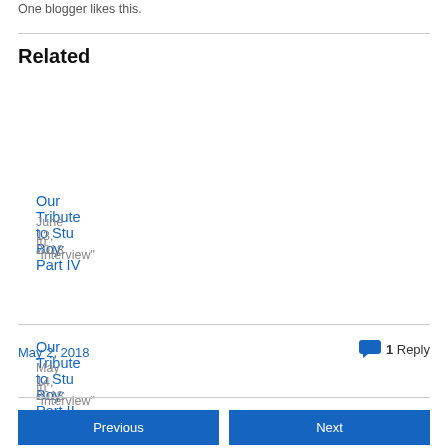One blogger likes this.
Related
Our Tribute to Stu Boy: Part IV
June 13, 2018
In "Interview"
Our Tribute to Stu Boy: Part II
May 14, 2018
In "Interview"
Our Tribute to Stu Boy: Part I
May 8, 2018
In "Interview"
May 2, 2018
1 Reply
Previous
Next